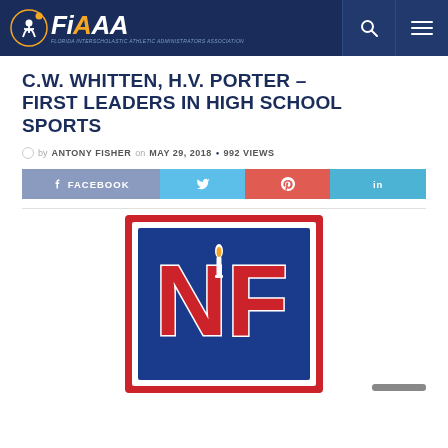FIAAA – Florida Interscholastic Athletic Administrators Association
C.W. WHITTEN, H.V. PORTER – FIRST LEADERS IN HIGH SCHOOL SPORTS
by ANTONY FISHER on MAY 29, 2018 • 992 VIEWS
FACEBOOK | (twitter) | (pinterest) | in
[Figure (logo): NFHS logo — National Federation of State High School Associations, red letters NF on blue background with red border]